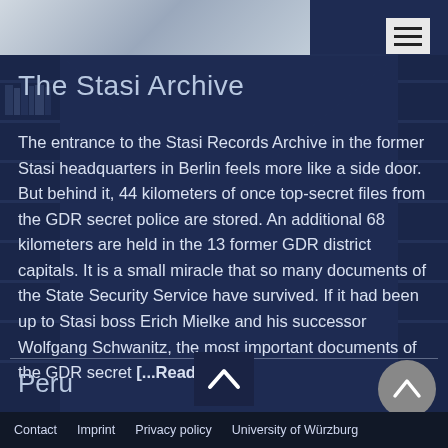[Figure (photo): Top portion of an image showing archive shelves with a light gray/white ceiling/interior, partially visible at the top of the page]
The Stasi Archive
The entrance to the Stasi Records Archive in the former Stasi headquarters in Berlin feels more like a side door. But behind it, 44 kilometers of once top-secret files from the GDR secret police are stored. An additional 68 kilometers are held in the 13 former GDR district capitals. It is a small miracle that so many documents of the State Security Service have survived. If it had been up to Stasi boss Erich Mielke and his successor Wolfgang Schwanitz, the most important documents of the GDR secret [...Read more]
Peru
Contact  Imprint  Privacy policy  University of Würzburg